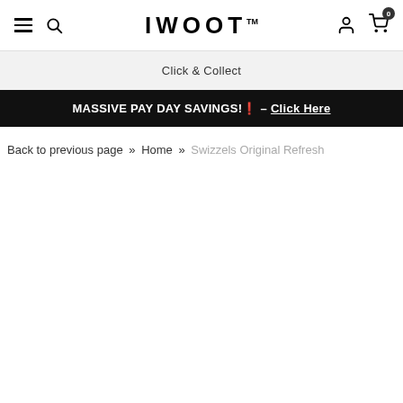IWOOT
Click & Collect
MASSIVE PAY DAY SAVINGS!🔥 - Click Here
Back to previous page » Home » Swizzels Original Refresh